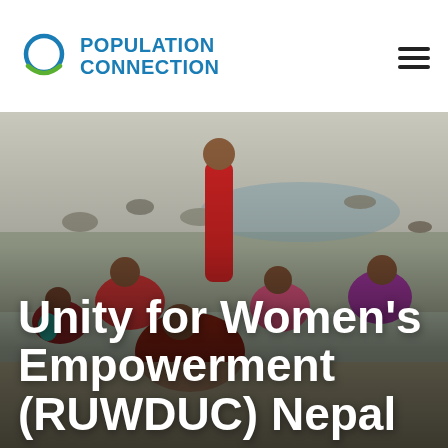[Figure (logo): Population Connection logo: circular icon with blue ring and green arc, beside bold blue text reading POPULATION CONNECTION in two lines]
[Figure (photo): Group of women in colorful traditional Nepali clothing (reds, pinks, purples) gathered outdoors near a rocky riverbed, some seated on the ground, one standing, appearing to be in a community meeting or activity. White bold text overlaid reads: Unity for Women's Empowerment (RUWDUC) Nepal]
Unity for Women's Empowerment (RUWDUC) Nepal